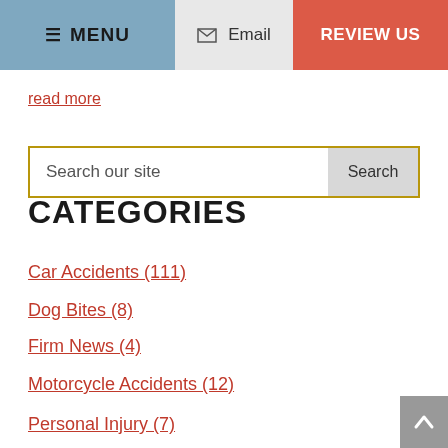MENU | Email | REVIEW US
read more
Search our site
CATEGORIES
Car Accidents (111)
Dog Bites (8)
Firm News (4)
Motorcycle Accidents (12)
Personal Injury (7)